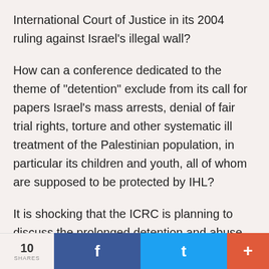International Court of Justice in its 2004 ruling against Israel's illegal wall?
How can a conference dedicated to the theme of "detention" exclude from its call for papers Israel's mass arrests, denial of fair trial rights, torture and other systematic ill treatment of the Palestinian population, in particular its children and youth, all of whom are supposed to be protected by IHL?
It is shocking that the ICRC is planning to discuss the prolonged detention and abuse suffered by Iraqis and Afghans, yet Palestinians are not mentioned in the call for papers, despite taking
10 SHARES  f  t  +